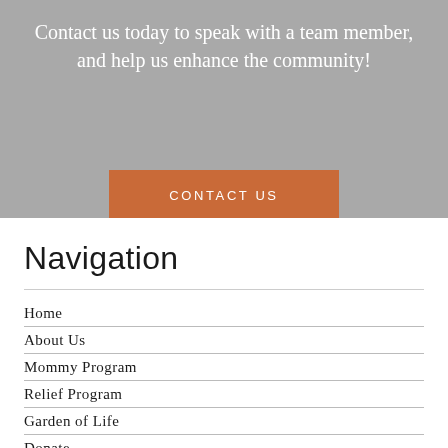Contact us today to speak with a team member, and help us enhance the community!
[Figure (other): Orange/terracotta button with white uppercase text reading CONTACT US]
Navigation
Home
About Us
Mommy Program
Relief Program
Garden of Life
Donate
Contact Us